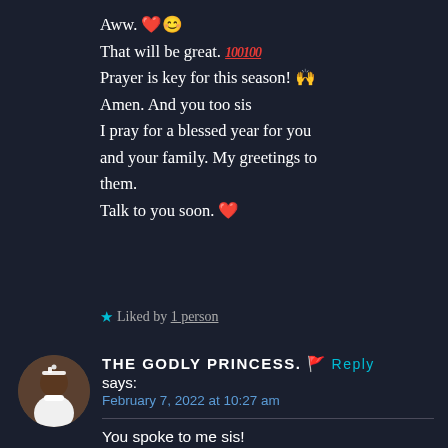Aww. ❤️😊
That will be great. 💯💯
Prayer is key for this season! 🙌
Amen. And you too sis
I pray for a blessed year for you and your family. My greetings to them.
Talk to you soon. ❤️
★ Liked by 1 person
THE GODLY PRINCESS. 🚩 Reply
says:
February 7, 2022 at 10:27 am
You spoke to me sis!